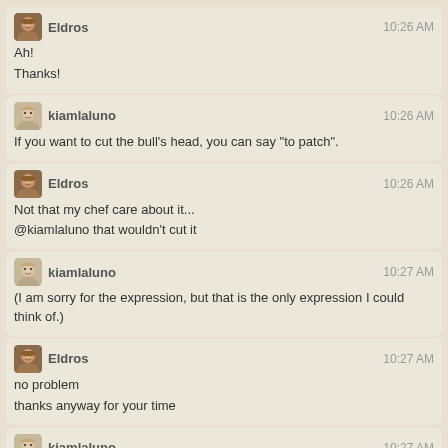Eldros 10:26 AM
Ah!
Thanks!
kiamlaluno 10:26 AM
If you want to cut the bull's head, you can say "to patch".
Eldros 10:26 AM
Not that my chef care about it...
@kiamlaluno that wouldn't cut it
kiamlaluno 10:27 AM
(I am sorry for the expression, but that is the only expression I could think of.)
Eldros 10:27 AM
no problem
thanks anyway for your time
kiamlaluno 10:27 AM
It is used when somebody asks you to choose between two alternatives, and you offer a third one.
Then, you introduce your option by saying "if you want to cut the bull's head", or "cutting the bull's head".
Eldros 10:29 AM
Well I should be the one to apologize, as you don't seem to have caught my follow-up pun